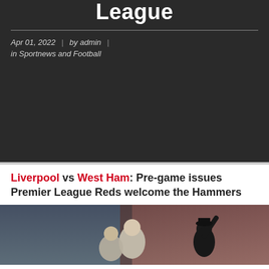League
Apr 01, 2022 | by admin | in Sportnews and Football
Liverpool vs West Ham: Pre-game issues Premier League Reds welcome the Hammers
[Figure (photo): Two people outdoors, one appears to be raising their hand, photographed from a low angle with a reddish building/structure in the background]